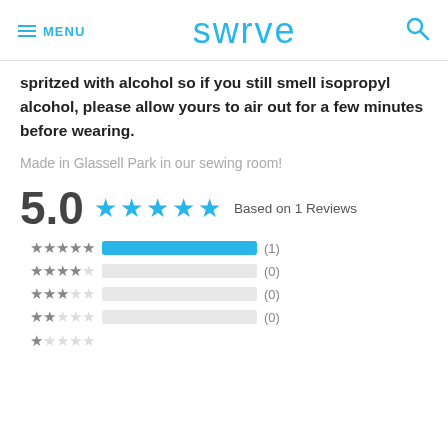MENU swrve (search)
spritzed with alcohol so if you still smell isopropyl alcohol, please allow yours to air out for a few minutes before wearing.
Made in Glassell Park in our sewing room!
5.0  ★★★★★  Based on 1 Reviews
[Figure (bar-chart): Rating breakdown]